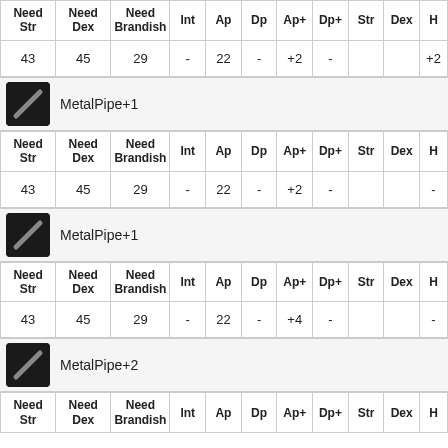| Need Str | Need Dex | Need Brandish | Int | Ap | Dp | Ap+ | Dp+ | Str | Dex | H |
| --- | --- | --- | --- | --- | --- | --- | --- | --- | --- | --- |
| 43 | 45 | 29 | - | 22 | - | +2 | - |  |  | +2 |
MetalPipe+1
| Need Str | Need Dex | Need Brandish | Int | Ap | Dp | Ap+ | Dp+ | Str | Dex | H |
| --- | --- | --- | --- | --- | --- | --- | --- | --- | --- | --- |
| 43 | 45 | 29 | - | 22 | - | +2 | - |  |  | - |
MetalPipe+1
| Need Str | Need Dex | Need Brandish | Int | Ap | Dp | Ap+ | Dp+ | Str | Dex | H |
| --- | --- | --- | --- | --- | --- | --- | --- | --- | --- | --- |
| 43 | 45 | 29 | - | 22 | - | +4 | - |  |  | - |
MetalPipe+2
| Need Str | Need Dex | Need Brandish | Int | Ap | Dp | Ap+ | Dp+ | Str | Dex | H |
| --- | --- | --- | --- | --- | --- | --- | --- | --- | --- | --- |